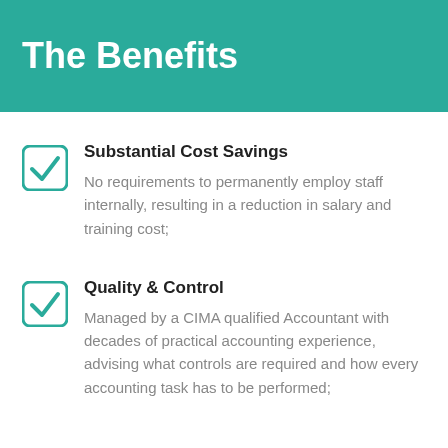The Benefits
Substantial Cost Savings
No requirements to permanently employ staff internally, resulting in a reduction in salary and training cost;
Quality & Control
Managed by a CIMA qualified Accountant with decades of practical accounting experience, advising what controls are required and how every accounting task has to be performed;